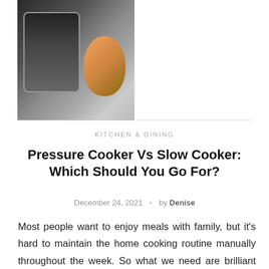[Figure (photo): Side-by-side photo of a pressure cooker (left, black with digital controls, vegetables in background) and a slow cooker (right, stainless steel, plain)]
KITCHEN & DINING
Pressure Cooker Vs Slow Cooker: Which Should You Go For?
December 24, 2021 · by Denise
Most people want to enjoy meals with family, but it's hard to maintain the home cooking routine manually throughout the week. So what we need are brilliant appliances for convenient and hands-off cooking. Among all, pressure cookers and slow cookers are the 2 most famous devices. Yet, knowing how they differ is